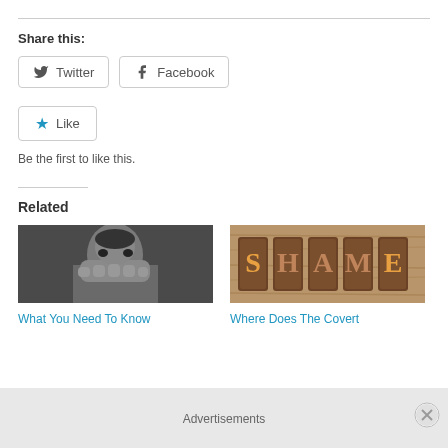Share this:
[Figure (screenshot): Twitter and Facebook share buttons]
[Figure (screenshot): Like button with star icon]
Be the first to like this.
Related
[Figure (photo): Black and white photo of a man covering his face]
What You Need To Know
[Figure (photo): Wooden letterpress tiles spelling SHAME]
Where Does The Covert
Advertisements